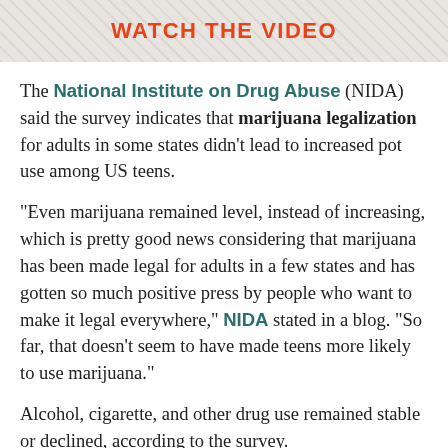[Figure (other): Banner with textured background and orange bold text reading WATCH THE VIDEO]
The National Institute on Drug Abuse (NIDA) said the survey indicates that marijuana legalization for adults in some states didn't lead to increased pot use among US teens.
"Even marijuana remained level, instead of increasing, which is pretty good news considering that marijuana has been made legal for adults in a few states and has gotten so much positive press by people who want to make it legal everywhere," NIDA stated in a blog. "So far, that doesn't seem to have made teens more likely to use marijuana."
Alcohol, cigarette, and other drug use remained stable or declined, according to the survey.